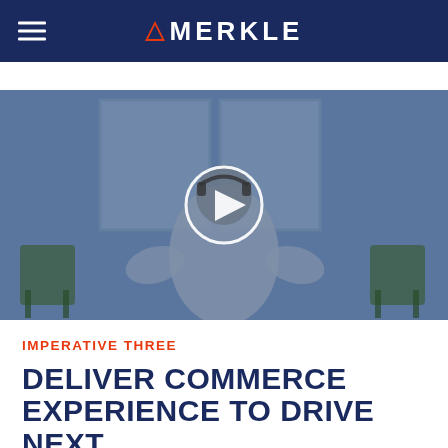MERKLE
[Figure (photo): Video thumbnail showing a man in a light grey hoodie standing in a room with large windows and chairs. A white circular play button overlay is centered on the image, indicating a video player.]
IMPERATIVE THREE
DELIVER COMMERCE EXPERIENCE TO DRIVE NEXT